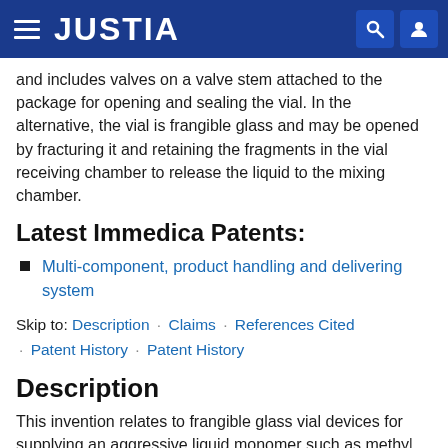JUSTIA
and includes valves on a valve stem attached to the package for opening and sealing the vial. In the alternative, the vial is frangible glass and may be opened by fracturing it and retaining the fragments in the vial receiving chamber to release the liquid to the mixing chamber.
Latest Immedica Patents:
Multi-component, product handling and delivering system
Skip to: Description · Claims · References Cited · Patent History · Patent History
Description
This invention relates to frangible glass vial devices for supplying an aggressive liquid monomer such as methyl